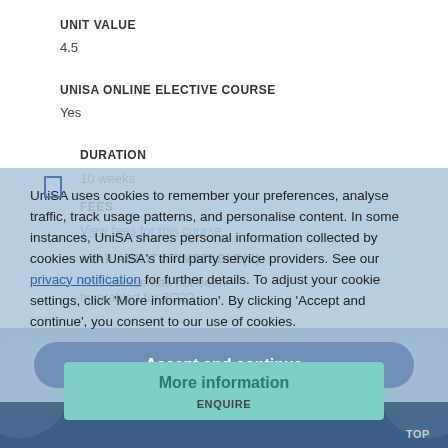UNIT VALUE
4.5
UNISA ONLINE ELECTIVE COURSE
Yes
DURATION
10 weeks
FEES
View fees for this course
AVAILABILITY/TIMETABLE(S)
This course has not been timetabled for 2O22.
UniSA uses cookies to remember your preferences, analyse traffic, track usage patterns, and personalise content. In some instances, UniSA shares personal information collected by cookies with UniSA's third party service providers. See our privacy notification for further details. To adjust your cookie settings, click 'More information'. By clicking 'Accept and continue', you consent to our use of cookies.
Accept and continue
More information
ENQUIRE
TOP